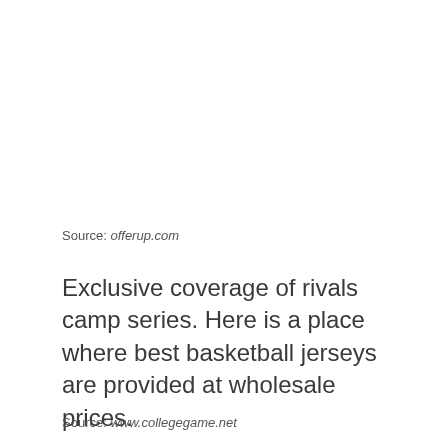Source: offerup.com
Exclusive coverage of rivals camp series. Here is a place where best basketball jerseys are provided at wholesale prices.
Source: www.collegegame.net